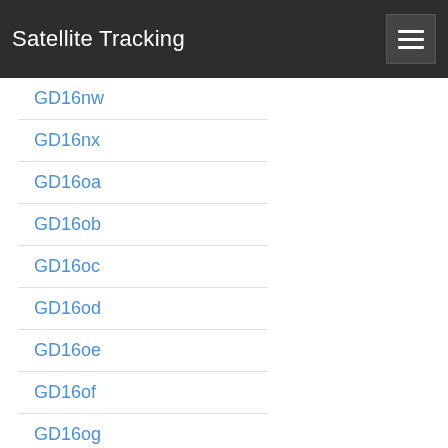Satellite Tracking
GD16nw
GD16nx
GD16oa
GD16ob
GD16oc
GD16od
GD16oe
GD16of
GD16og
GD16oh
GD16oi
GD16oj
GD16ok
GD16ol
GD16om
GD16on
GD16oo
GD16op